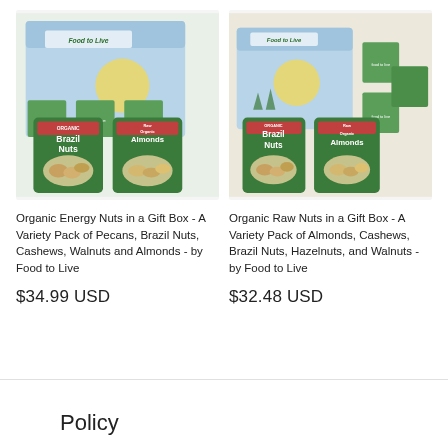[Figure (photo): Organic Energy Nuts in a Gift Box product photo showing Food to Live branded gift box with packages of Organic Brazil Nuts and Raw Organic Almonds]
Organic Energy Nuts in a Gift Box - A Variety Pack of Pecans, Brazil Nuts, Cashews, Walnuts and Almonds - by Food to Live
$34.99 USD
[Figure (photo): Organic Raw Nuts in a Gift Box product photo showing Food to Live branded gift box with packages of Organic Brazil Nuts and Raw Organic Almonds]
Organic Raw Nuts in a Gift Box - A Variety Pack of Almonds, Cashews, Brazil Nuts, Hazelnuts, and Walnuts - by Food to Live
$32.48 USD
Policy